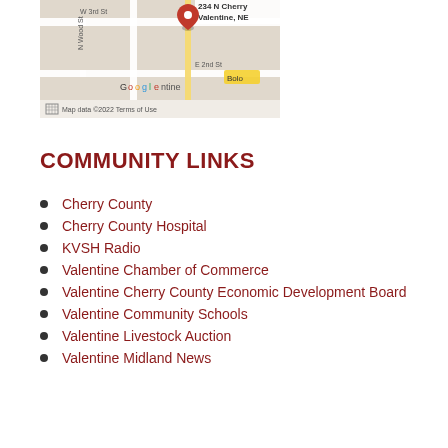[Figure (map): Google Maps screenshot showing 234 N Cherry, Valentine, NE with a red location pin, street grid including W 3rd St, E 2nd St, N Wood St, map data copyright 2022, Terms of Use visible at bottom]
COMMUNITY LINKS
Cherry County
Cherry County Hospital
KVSH Radio
Valentine Chamber of Commerce
Valentine Cherry County Economic Development Board
Valentine Community Schools
Valentine Livestock Auction
Valentine Midland News